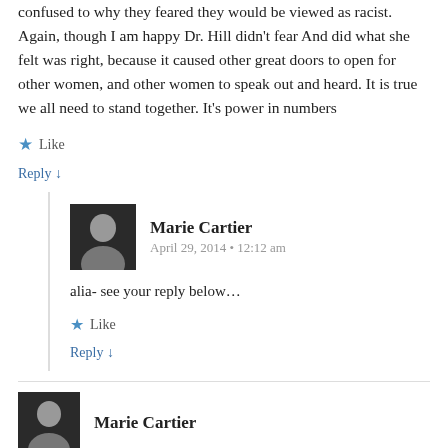confused to why they feared they would be viewed as racist. Again, though I am happy Dr. Hill didn't fear And did what she felt was right, because it caused other great doors to open for other women, and other women to speak out and heard. It is true we all need to stand together. It's power in numbers
Like
Reply ↓
Marie Cartier
April 29, 2014 • 12:12 am
alia- see your reply below…
Like
Reply ↓
Marie Cartier